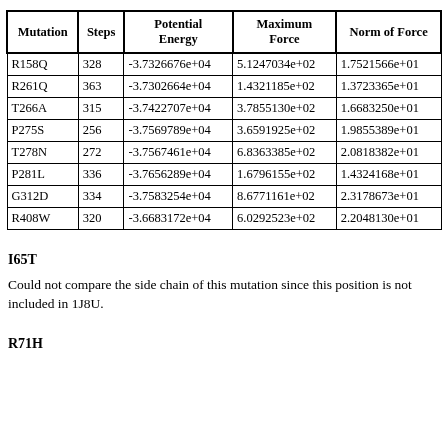| Mutation | Steps | Potential Energy | Maximum Force | Norm of Force |
| --- | --- | --- | --- | --- |
| R158Q | 328 | -3.7326676e+04 | 5.1247034e+02 | 1.7521566e+01 |
| R261Q | 363 | -3.7302664e+04 | 1.4321185e+02 | 1.3723365e+01 |
| T266A | 315 | -3.7422707e+04 | 3.7855130e+02 | 1.6683250e+01 |
| P275S | 256 | -3.7569789e+04 | 3.6591925e+02 | 1.9855389e+01 |
| T278N | 272 | -3.7567461e+04 | 6.8363385e+02 | 2.0818382e+01 |
| P281L | 336 | -3.7656289e+04 | 1.6796155e+02 | 1.4324168e+01 |
| G312D | 334 | -3.7583254e+04 | 8.6771161e+02 | 2.3178673e+01 |
| R408W | 320 | -3.6683172e+04 | 6.0292523e+02 | 2.2048130e+01 |
I65T
Could not compare the side chain of this mutation since this position is not included in 1J8U.
R71H